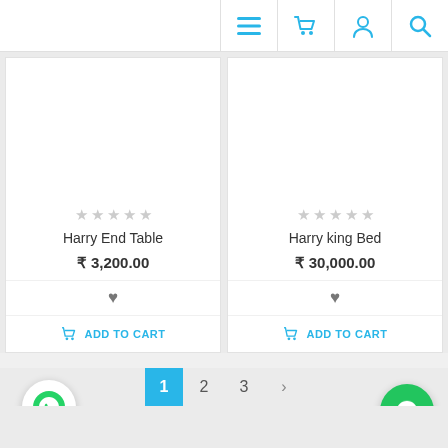[Figure (screenshot): Top navigation bar with hamburger menu, shopping cart, user, and search icons in cyan/teal color]
[Figure (screenshot): Product card for Harry End Table with 5 empty stars, price ₹3,200.00, heart icon, and Add to Cart button]
[Figure (screenshot): Product card for Harry king Bed with 5 empty stars, price ₹30,000.00, heart icon, and Add to Cart button]
[Figure (screenshot): Pagination bar showing pages 1 (active, cyan), 2, 3, and next arrow]
[Figure (screenshot): WhatsApp floating button (green circle with phone icon) bottom left]
[Figure (screenshot): Chat floating button (green circle with chat icon) bottom right]